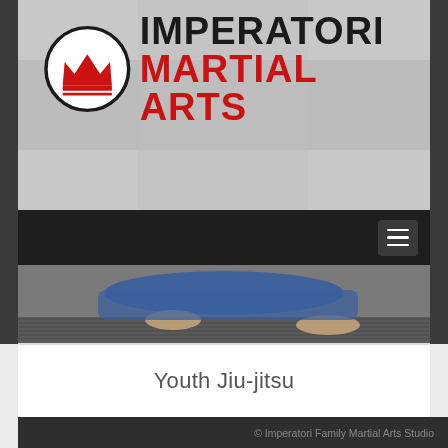[Figure (logo): Imperatori Martial Arts logo with crown icon in circle, IMPERATORI in black bold and MARTIAL ARTS in red bold]
[Figure (photo): Navigation bar with dark/black background and hamburger menu icon on right]
[Figure (photo): Photo of person in blue gi doing a martial arts bow or submission position on dark mat, feet visible]
Youth Jiu-jitsu
© Imperatori Family Martial Arts Studio